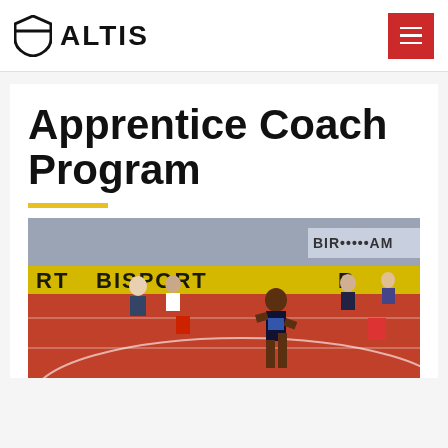[Figure (logo): ALTIS shield logo with text]
Apprentice Coach Program
[Figure (photo): Athlete running on a red track at a Birmingham athletics event, with spectators and officials visible in the background. Yellow BISPORT signage visible.]